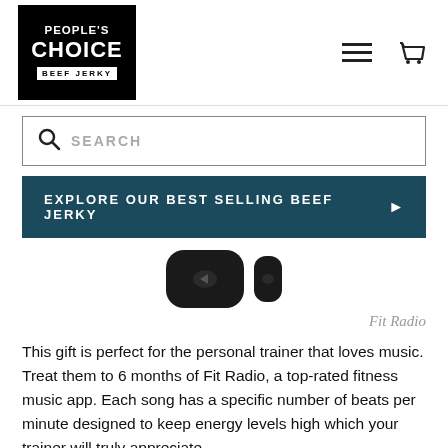[Figure (logo): People's Choice Beef Jerky logo, white text on black background]
[Figure (screenshot): Search bar with magnifying glass icon and SEARCH placeholder text]
[Figure (infographic): Dark teal banner reading EXPLORE OUR BEST SELLING BEEF JERKY with right arrow]
[Figure (photo): Partial image of two dark rounded device/speaker objects visible at top]
Fit Radio
This gift is perfect for the personal trainer that loves music. Treat them to 6 months of Fit Radio, a top-rated fitness music app. Each song has a specific number of beats per minute designed to keep energy levels high which your trainer will truly appreciate.